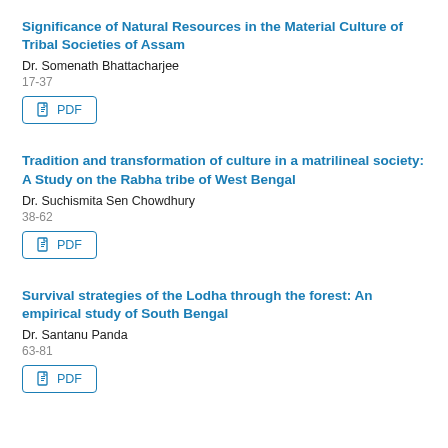Significance of Natural Resources in the Material Culture of Tribal Societies of Assam
Dr. Somenath Bhattacharjee
17-37
[Figure (other): PDF download button]
Tradition and transformation of culture in a matrilineal society: A Study on the Rabha tribe of West Bengal
Dr. Suchismita Sen Chowdhury
38-62
[Figure (other): PDF download button]
Survival strategies of the Lodha through the forest: An empirical study of South Bengal
Dr. Santanu Panda
63-81
[Figure (other): PDF download button]